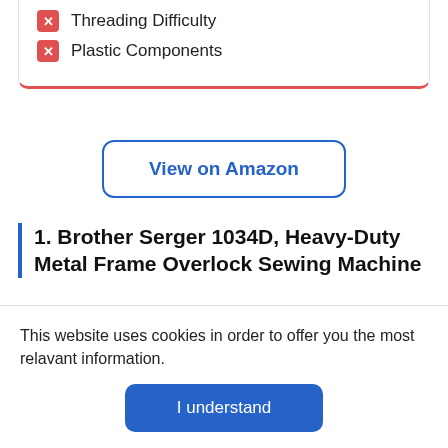Threading Difficulty
Plastic Components
View on Amazon
1. Brother Serger 1034D, Heavy-Duty Metal Frame Overlock Sewing Machine
BEST PICK
Best over all
[Figure (photo): Partial view of Brother Serger 1034D sewing machine product image]
This website uses cookies in order to offer you the most relavant information.
I understand